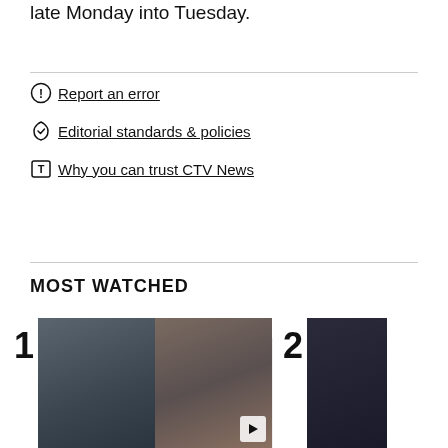late Monday into Tuesday.
Report an error
Editorial standards & policies
Why you can trust CTV News
MOST WATCHED
[Figure (photo): Two video thumbnail images side by side. Thumbnail 1 shows two people in a professional setting. Thumbnail 2 shows a person at a podium. Numbered 1 and 2 respectively.]